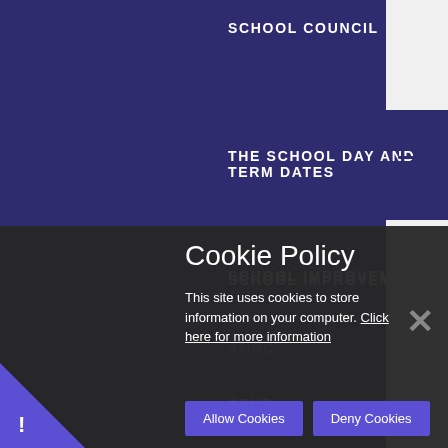SCHOOL COUNCIL
THE SCHOOL DAY AND TERM DATES
SCHOOL IMPROVEMENT
SEND
SMSC
STAFF
Cookie Policy
This site uses cookies to store information on your computer. Click here for more information
Allow Cookies
Deny Cookies